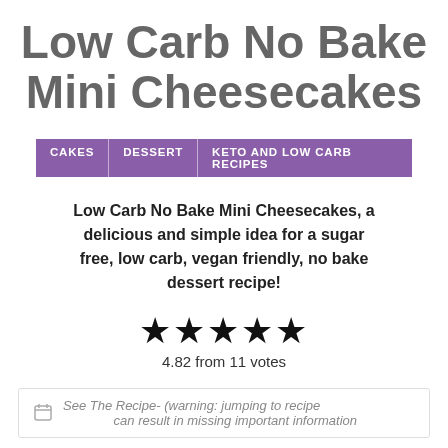Low Carb No Bake Mini Cheesecakes
CAKES | DESSERT | KETO AND LOW CARB RECIPES
Low Carb No Bake Mini Cheesecakes, a delicious and simple idea for a sugar free, low carb, vegan friendly, no bake dessert recipe!
★★★★★ 4.82 from 11 votes
See The Recipe- (warning: jumping to recipe can result in missing important information)